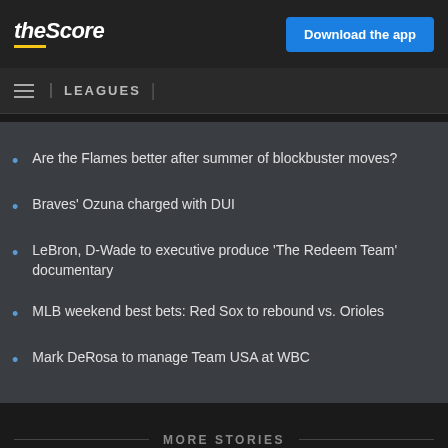theScore | Download the app
LEAGUES
Are the Flames better after summer of blockbuster moves?
Braves' Ozuna charged with DUI
LeBron, D-Wade to executive produce 'The Redeem Team' documentary
MLB weekend best bets: Red Sox to rebound vs. Orioles
Mark DeRosa to manage Team USA at WBC
MORE STORIES